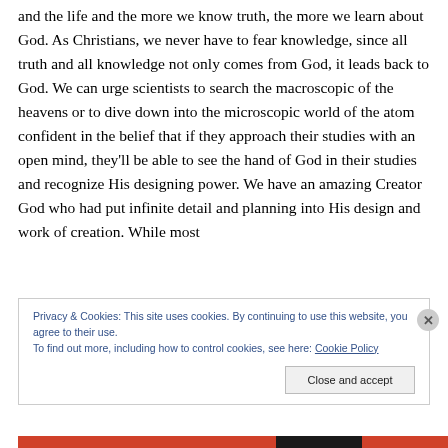and the life and the more we know truth, the more we learn about God. As Christians, we never have to fear knowledge, since all truth and all knowledge not only comes from God, it leads back to God. We can urge scientists to search the macroscopic of the heavens or to dive down into the microscopic world of the atom confident in the belief that if they approach their studies with an open mind, they'll be able to see the hand of God in their studies and recognize His designing power. We have an amazing Creator God who had put infinite detail and planning into His design and work of creation. While most
Privacy & Cookies: This site uses cookies. By continuing to use this website, you agree to their use.
To find out more, including how to control cookies, see here: Cookie Policy
Close and accept